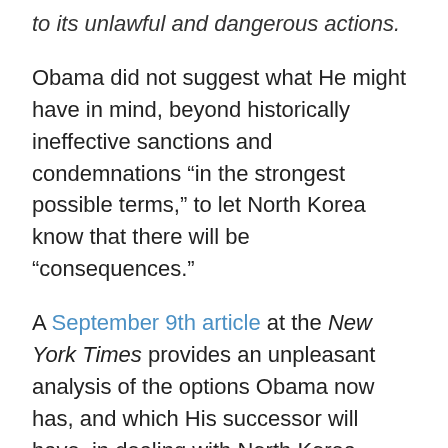to its unlawful and dangerous actions.
Obama did not suggest what He might have in mind, beyond historically ineffective sanctions and condemnations “in the strongest possible terms,” to let North Korea know that there will be “consequences.”
A September 9th article at the New York Times provides an unpleasant analysis of the options Obama now has, and which His successor will have, in dealing with North Korea.
A hard embargo, in which Washington and its allies block all shipping into and out of North Korea and seek to paralyze its finances, risks confrontations that allies in Asia fear could quickly escalate into war. But restarting talks on the North’s terms would reward the defiance of its young leader, Kim Jong-un, with no guarantee that he will